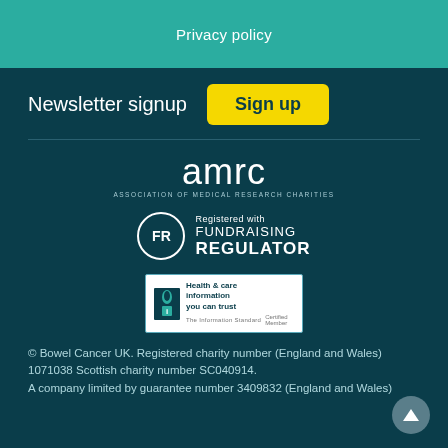Privacy policy
Newsletter signup
Sign up
[Figure (logo): AMRC – Association of Medical Research Charities logo in white text on dark teal background]
[Figure (logo): Fundraising Regulator registered logo with FR circle and text]
[Figure (logo): Health & care information you can trust – The Information Standard certified member logo]
© Bowel Cancer UK. Registered charity number (England and Wales) 1071038 Scottish charity number SC040914. A company limited by guarantee number 3409832 (England and Wales)